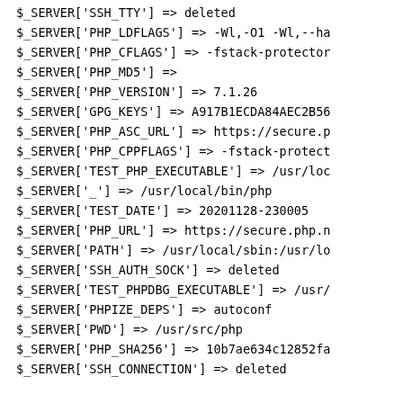$_SERVER['SSH_TTY'] => deleted
$_SERVER['PHP_LDFLAGS'] => -Wl,-O1 -Wl,--ha
$_SERVER['PHP_CFLAGS'] => -fstack-protector
$_SERVER['PHP_MD5'] =>
$_SERVER['PHP_VERSION'] => 7.1.26
$_SERVER['GPG_KEYS'] => A917B1ECDA84AEC2B56
$_SERVER['PHP_ASC_URL'] => https://secure.p
$_SERVER['PHP_CPPFLAGS'] => -fstack-protect
$_SERVER['TEST_PHP_EXECUTABLE'] => /usr/loc
$_SERVER['_'] => /usr/local/bin/php
$_SERVER['TEST_DATE'] => 20201128-230005
$_SERVER['PHP_URL'] => https://secure.php.n
$_SERVER['PATH'] => /usr/local/sbin:/usr/lo
$_SERVER['SSH_AUTH_SOCK'] => deleted
$_SERVER['TEST_PHPDBG_EXECUTABLE'] => /usr/
$_SERVER['PHPIZE_DEPS'] => autoconf
$_SERVER['PWD'] => /usr/src/php
$_SERVER['PHP_SHA256'] => 10b7ae634c12852fa
$_SERVER['SSH_CONNECTION'] => deleted